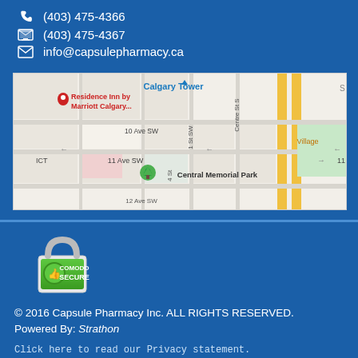(403) 475-4366
(403) 475-4367
info@capsulepharmacy.ca
[Figure (map): Google Maps screenshot showing area around Central Memorial Park, Calgary, with streets including 10 Ave SW, 11 Ave SW, 1 St SW, Centre St S, and landmarks including Residence Inn by Marriott Calgary and Calgary Tower]
[Figure (logo): Comodo Secure badge with green shield and thumbs up icon]
© 2016 Capsule Pharmacy Inc. ALL RIGHTS RESERVED.
Powered By: Strathon
Click here to read our Privacy statement.